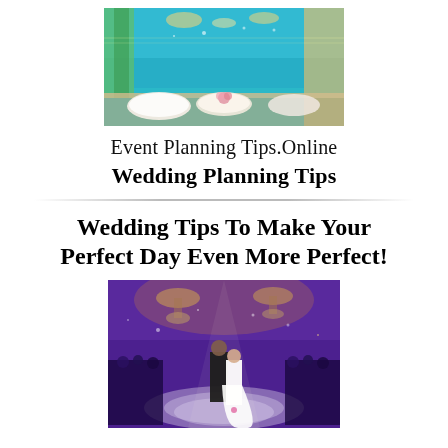[Figure (photo): Elegant wedding reception hall with teal/cyan uplighting, white table settings, chandeliers, and green drapery]
Event Planning Tips.Online
Wedding Planning Tips
Wedding Tips To Make Your Perfect Day Even More Perfect!
[Figure (photo): Couple sharing first dance on lit ballroom floor with purple uplighting, chandeliers, and guests watching]